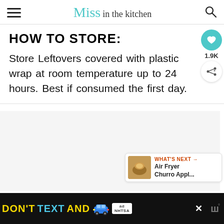Miss in the kitchen
HOW TO STORE:
Store Leftovers covered with plastic wrap at room temperature up to 24 hours. Best if consumed the first day.
[Figure (infographic): Social share widget with heart icon showing 1.9K likes and a share button]
[Figure (infographic): What's Next widget showing Air Fryer Churro Appl... with a thumbnail image]
[Figure (infographic): NHTSA ad banner: DON'T TEXT AND [car emoji] with NHTSA logo]